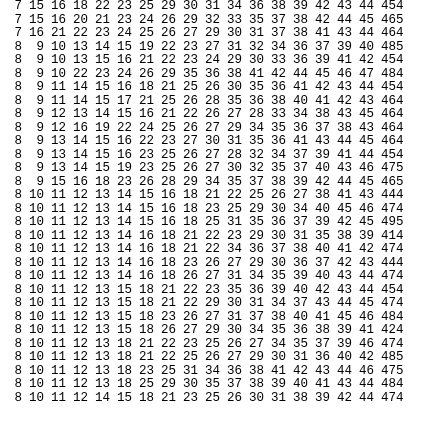| 7 | 15 | 16 | 18 | 22 | 23 | 25 | 29 | 30 | 31 | 34 | 36 | 38 | 39 | 42 | 43 | 44 | 45 | 4 |
| 7 | 15 | 16 | 20 | 21 | 23 | 24 | 26 | 29 | 32 | 33 | 35 | 37 | 38 | 42 | 44 | 45 | 46 | 5 |
| 7 | 16 | 21 | 22 | 23 | 24 | 25 | 26 | 27 | 29 | 30 | 31 | 37 | 38 | 41 | 43 | 44 | 46 | 4 |
| 8 | 9 | 10 | 13 | 14 | 15 | 19 | 22 | 23 | 27 | 31 | 32 | 34 | 36 | 37 | 39 | 40 | 48 | 5 |
| 8 | 9 | 10 | 13 | 15 | 16 | 21 | 22 | 23 | 24 | 29 | 30 | 33 | 36 | 39 | 41 | 42 | 45 | 4 |
| 8 | 9 | 10 | 22 | 23 | 24 | 26 | 29 | 35 | 36 | 38 | 41 | 42 | 44 | 45 | 46 | 47 | 48 | 4 |
| 8 | 9 | 11 | 14 | 15 | 16 | 18 | 21 | 25 | 26 | 30 | 35 | 36 | 41 | 42 | 43 | 44 | 45 | 4 |
| 8 | 9 | 11 | 14 | 15 | 17 | 21 | 25 | 26 | 28 | 35 | 36 | 38 | 40 | 41 | 42 | 43 | 46 | 4 |
| 8 | 9 | 12 | 13 | 14 | 15 | 16 | 21 | 22 | 26 | 27 | 28 | 33 | 34 | 38 | 43 | 45 | 46 | 4 |
| 8 | 9 | 12 | 16 | 19 | 22 | 24 | 25 | 26 | 27 | 29 | 34 | 35 | 36 | 37 | 38 | 43 | 46 | 4 |
| 8 | 9 | 13 | 14 | 15 | 16 | 22 | 23 | 27 | 30 | 31 | 35 | 36 | 41 | 43 | 44 | 45 | 46 | 4 |
| 8 | 9 | 13 | 14 | 15 | 16 | 23 | 25 | 26 | 27 | 28 | 32 | 34 | 37 | 39 | 41 | 44 | 45 | 4 |
| 8 | 9 | 13 | 14 | 15 | 19 | 23 | 25 | 26 | 27 | 30 | 32 | 35 | 37 | 40 | 43 | 46 | 47 | 5 |
| 8 | 9 | 15 | 16 | 18 | 23 | 26 | 28 | 29 | 34 | 35 | 37 | 38 | 39 | 42 | 44 | 45 | 46 | 5 |
| 8 | 10 | 11 | 12 | 13 | 14 | 15 | 16 | 18 | 21 | 22 | 25 | 26 | 27 | 38 | 41 | 43 | 44 | 4 |
| 8 | 10 | 11 | 12 | 13 | 14 | 15 | 16 | 18 | 23 | 25 | 29 | 30 | 34 | 40 | 45 | 46 | 47 | 4 |
| 8 | 10 | 11 | 12 | 13 | 14 | 15 | 16 | 18 | 25 | 31 | 35 | 36 | 37 | 39 | 42 | 45 | 49 | 5 |
| 8 | 10 | 11 | 12 | 13 | 14 | 16 | 18 | 21 | 22 | 23 | 29 | 30 | 31 | 35 | 38 | 39 | 41 | 4 |
| 8 | 10 | 11 | 12 | 13 | 14 | 16 | 18 | 21 | 22 | 34 | 36 | 37 | 38 | 40 | 41 | 42 | 47 | 4 |
| 8 | 10 | 11 | 12 | 13 | 14 | 16 | 18 | 23 | 26 | 27 | 29 | 30 | 36 | 37 | 42 | 43 | 44 | 4 |
| 8 | 10 | 11 | 12 | 13 | 14 | 16 | 18 | 26 | 27 | 31 | 34 | 35 | 39 | 40 | 43 | 44 | 47 | 4 |
| 8 | 10 | 11 | 12 | 13 | 15 | 18 | 21 | 22 | 23 | 35 | 36 | 39 | 40 | 42 | 43 | 44 | 45 | 4 |
| 8 | 10 | 11 | 12 | 13 | 15 | 18 | 21 | 22 | 29 | 30 | 31 | 34 | 37 | 43 | 44 | 45 | 47 | 4 |
| 8 | 10 | 11 | 12 | 13 | 15 | 18 | 23 | 26 | 27 | 31 | 37 | 38 | 40 | 41 | 45 | 46 | 48 | 4 |
| 8 | 10 | 11 | 12 | 13 | 15 | 18 | 26 | 27 | 29 | 30 | 34 | 35 | 36 | 38 | 39 | 41 | 42 | 4 |
| 8 | 10 | 11 | 12 | 13 | 18 | 21 | 22 | 23 | 25 | 26 | 27 | 34 | 35 | 37 | 39 | 46 | 47 | 4 |
| 8 | 10 | 11 | 12 | 13 | 18 | 21 | 22 | 25 | 26 | 27 | 29 | 30 | 31 | 36 | 40 | 42 | 48 | 5 |
| 8 | 10 | 11 | 12 | 13 | 18 | 23 | 25 | 31 | 34 | 36 | 38 | 41 | 42 | 43 | 44 | 46 | 47 | 5 |
| 8 | 10 | 11 | 12 | 13 | 18 | 25 | 29 | 30 | 35 | 37 | 38 | 39 | 40 | 41 | 43 | 44 | 48 | 4 |
| 8 | 10 | 11 | 12 | 14 | 15 | 18 | 21 | 23 | 25 | 26 | 30 | 31 | 38 | 39 | 42 | 44 | 47 | 4 |